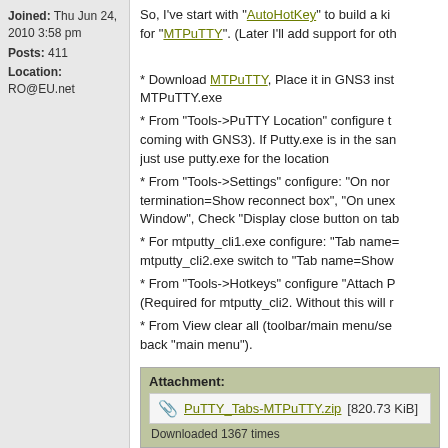Joined: Thu Jun 24, 2010 3:58 pm
Posts: 411
Location: RO@EU.net
So, I've start with "AutoHotKey" to build a kind of wrapper for "MTPuTTY". (Later I'll add support for oth

* Download MTPuTTY, Place it in GNS3 inst MTPuTTY.exe
* From "Tools->PuTTY Location" configure t coming with GNS3). If Putty.exe is in the san just use putty.exe for the location
* From "Tools->Settings" configure: "On nor termination=Show reconnect box", "On unex Window", Check "Display close button on ta
* For mtputty_cli1.exe configure: "Tab name= mtputty_cli2.exe switch to "Tab name=Show
* From "Tools->Hotkeys" configure "Attach P (Required for mtputty_cli2. Without this will r
* From View clear all (toolbar/main menu/se back "main menu").
* Place all programs in GNS3 installation dir mtputty.exe, mtputty_cli1.exe/mtputty_cli2.ex
Attachment:
PuTTY_Tabs-MTPuTTY.zip [820.73 KiB]
Downloaded 1367 times